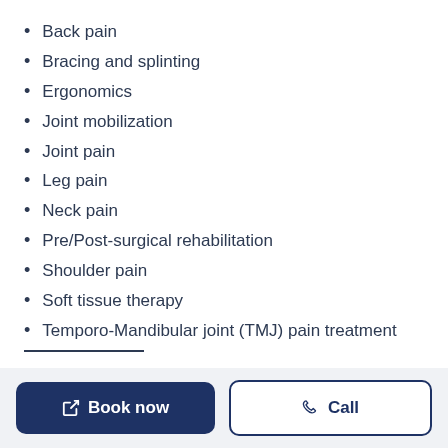Back pain
Bracing and splinting
Ergonomics
Joint mobilization
Joint pain
Leg pain
Neck pain
Pre/Post-surgical rehabilitation
Shoulder pain
Soft tissue therapy
Temporo-Mandibular joint (TMJ) pain treatment